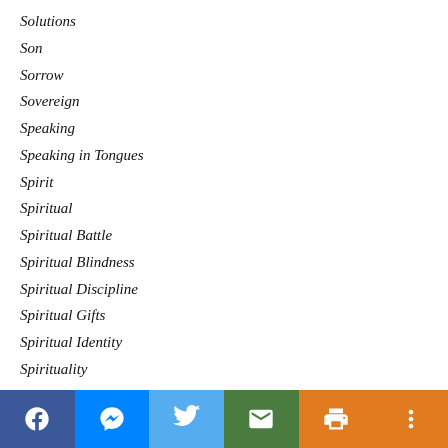Solutions
Son
Sorrow
Sovereign
Speaking
Speaking in Tongues
Spirit
Spiritual
Spiritual Battle
Spiritual Blindness
Spiritual Discipline
Spiritual Gifts
Spiritual Identity
Spirituality
Spiritual Thinking